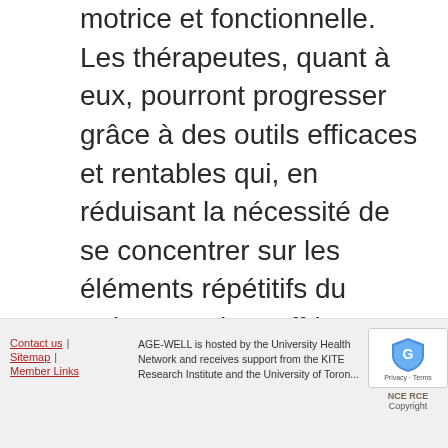motrice et fonctionnelle. Les thérapeutes, quant à eux, pourront progresser grâce à des outils efficaces et rentables qui, en réduisant la nécessité de se concentrer sur les éléments répétitifs du traitement, leur offriront plus de possibilités de se consacrer aux activités quotidiennes et aux objectifs de réintégration dans la communauté.
Contact us | Sitemap | Member Links — AGE-WELL is hosted by the University Health Network and receives support from the KITE Research Institute and the University of Toronto — NCE RCE Copyright